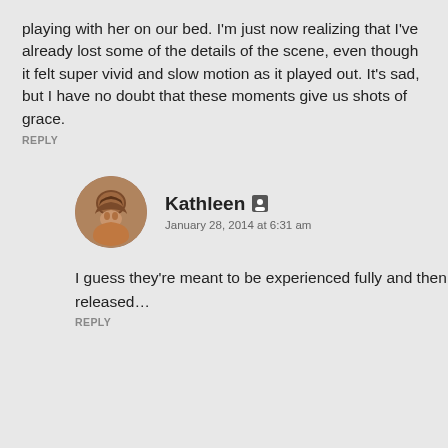playing with her on our bed. I'm just now realizing that I've already lost some of the details of the scene, even though it felt super vivid and slow motion as it played out. It's sad, but I have no doubt that these moments give us shots of grace.
REPLY
[Figure (photo): Circular avatar photo of Kathleen, a woman with wavy brown hair]
Kathleen
January 28, 2014 at 6:31 am
I guess they're meant to be experienced fully and then released…
REPLY